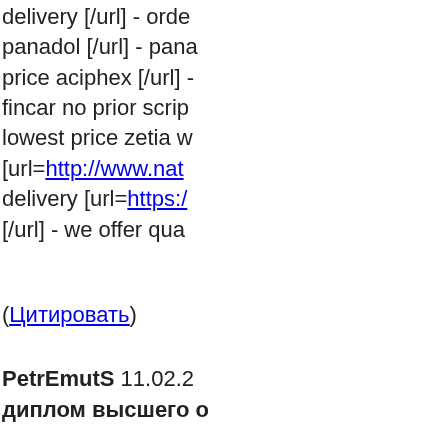delivery [/url] - order panadol [/url] - pana price aciphex [/url] - fincar no prior scrip lowest price zetia w [url=http://www.nat delivery [url=https:/ [/url] - we offer qua
(Цитировать)
PetrEmutS 11.02.2... диплом высшего о
Пол дня просматри вот и он: [url=http:/ данный вебсайт ок
(Цитировать)
Olyndjet 11.02.201... купить большин...